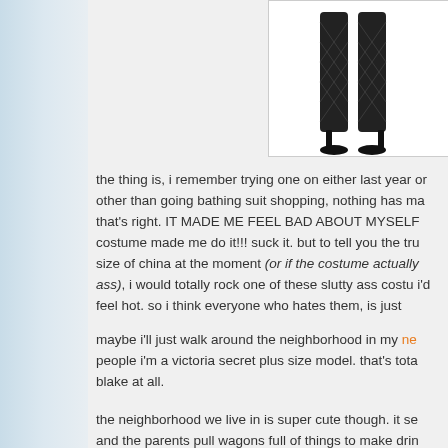[Figure (photo): Product image showing legs wearing fishnet stockings and black high heels on white background]
the thing is, i remember trying one on either last year or other than going bathing suit shopping, nothing has ma that's right. IT MADE ME FEEL BAD ABOUT MYSELF costume made me do it!!! suck it. but to tell you the tru size of china at the moment (or if the costume actually ass), i would totally rock one of these slutty ass costu i'd feel hot. so i think everyone who hates them, is just
maybe i'll just walk around the neighborhood in my ne people i'm a victoria secret plus size model. that's tota blake at all.
the neighborhood we live in is super cute though. it se and the parents pull wagons full of things to make drin